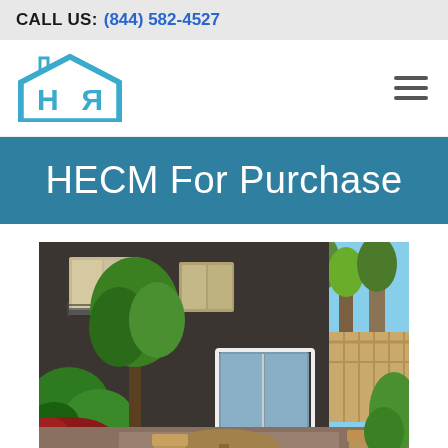CALL US: (844) 582-4527
[Figure (logo): HR house logo with stylized H and reversed R inside a house outline, teal/blue color]
HECM For Purchase
[Figure (photo): Exterior photo of a dark brick two-story home with large glass sliding doors, wooden patio table and wicker chairs, surrounded by lush green trees and shrubs with a wooden fence on the right side]